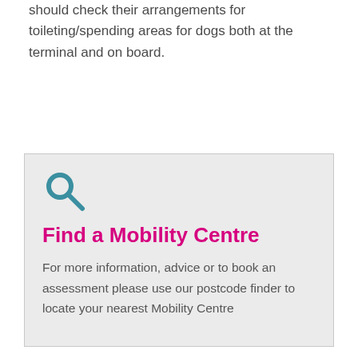You must also inform the ferry company and you should check their arrangements for toileting/spending areas for dogs both at the terminal and on board.
[Figure (infographic): Light grey callout box with a teal search/magnifying glass icon, a bold magenta heading 'Find a Mobility Centre', and descriptive text below.]
Find a Mobility Centre
For more information, advice or to book an assessment please use our postcode finder to locate your nearest Mobility Centre